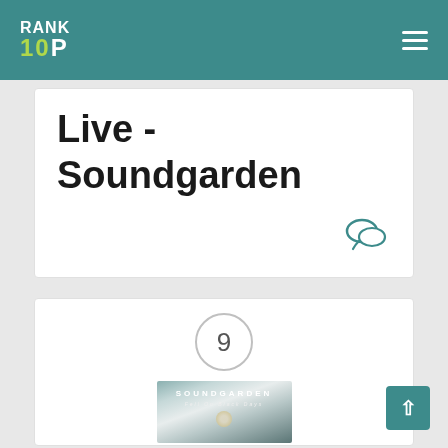RANK 10P
Live - Soundgarden
[Figure (other): Chat/comment bubble icon in teal color]
9
[Figure (photo): Soundgarden - Fell On Black Days album cover showing misty/foggy landscape with moon]